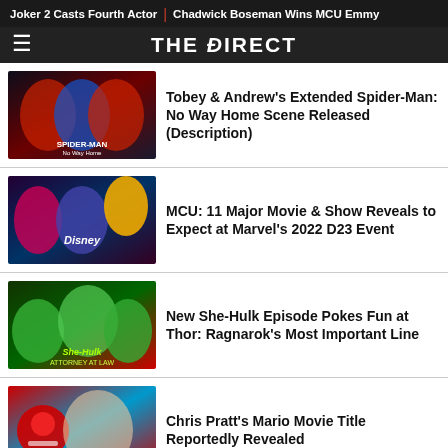Joker 2 Casts Fourth Actor | Chadwick Boseman Wins MCU Emmy
THE DIRECT
Tobey & Andrew's Extended Spider-Man: No Way Home Scene Released (Description)
MCU: 11 Major Movie & Show Reveals to Expect at Marvel's 2022 D23 Event
New She-Hulk Episode Pokes Fun at Thor: Ragnarok's Most Important Line
Chris Pratt's Mario Movie Title Reportedly Revealed